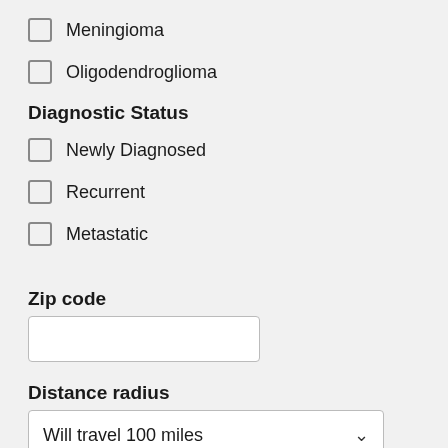Meningioma
Oligodendroglioma
Diagnostic Status
Newly Diagnosed
Recurrent
Metastatic
Zip code
Distance radius
Will travel 100 miles
Age